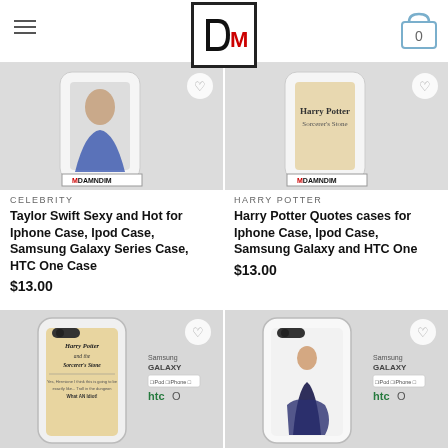DamnDim store header with logo and cart (0)
[Figure (photo): Product image for Taylor Swift phone case with DAMNDIM branding]
CELEBRITY
Taylor Swift Sexy and Hot for Iphone Case, Ipod Case, Samsung Galaxy Series Case, HTC One Case
$13.00
[Figure (photo): Product image for Harry Potter Quotes phone case with DAMNDIM branding]
HARRY POTTER
Harry Potter Quotes cases for Iphone Case, Ipod Case, Samsung Galaxy and HTC One
$13.00
[Figure (photo): Harry Potter and the Sorcerer's Stone phone case product image showing Samsung Galaxy, iPod, iPhone, HTC compatibility]
[Figure (photo): Taylor Swift elegant dress phone case product image showing Samsung Galaxy, iPod, iPhone, HTC compatibility]